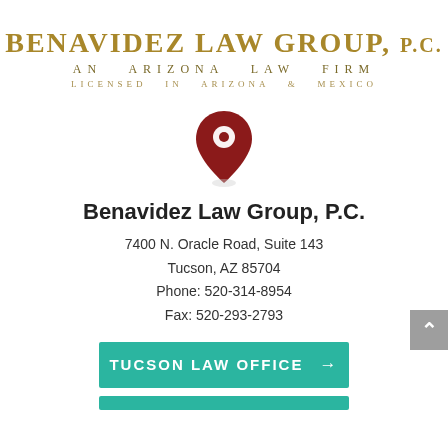[Figure (logo): Benavidez Law Group, P.C. logo with gold serif text. Main line: BENAVIDEZ LAW GROUP, P.C. Sub-line: AN ARIZONA LAW FIRM. Third line: LICENSED IN ARIZONA & MEXICO]
[Figure (illustration): Dark red map pin / location marker icon]
Benavidez Law Group, P.C.
7400 N. Oracle Road, Suite 143
Tucson, AZ 85704
Phone: 520-314-8954
Fax: 520-293-2793
TUCSON LAW OFFICE →